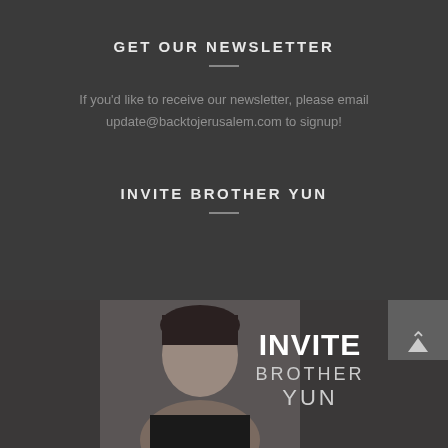GET OUR NEWSLETTER
If you'd like to receive our newsletter, please email update@backtojerusalem.com to signup!
INVITE BROTHER YUN
[Figure (photo): Black and white photo of Brother Yun with 'INVITE BROTHER YUN' text overlay, and a back-to-top arrow button in bottom right corner]